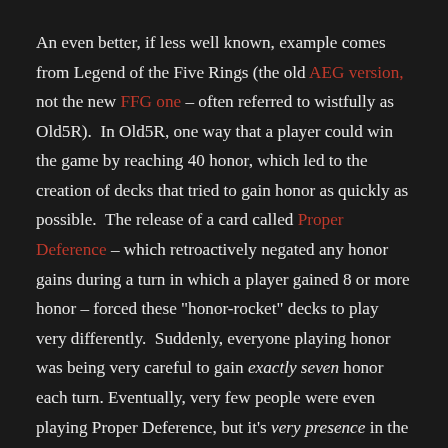An even better, if less well known, example comes from Legend of the Five Rings (the old AEG version, not the new FFG one – often referred to wistfully as Old5R). In Old5R, one way that a player could win the game by reaching 40 honor, which led to the creation of decks that tried to gain honor as quickly as possible. The release of a card called Proper Deference – which retroactively negated any honor gains during a turn in which a player gained 8 or more honor – forced these "honor-rocket" decks to play very differently. Suddenly, everyone playing honor was being very careful to gain exactly seven honor each turn. Eventually, very few people were even playing Proper Deference, but it's very presence in the meta continued to force players to play differently.
No Time could be one of these kinds of meta-warping